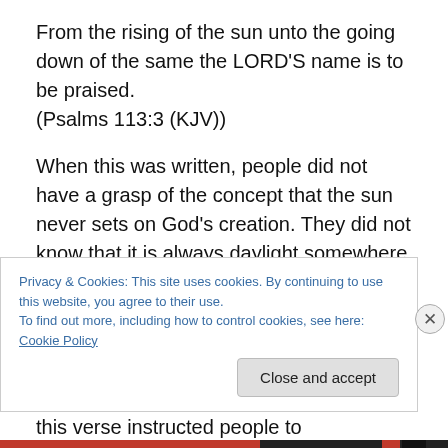From the rising of the sun unto the going down of the same the LORD'S name is to be praised. (Psalms 113:3 (KJV))
When this was written, people did not have a grasp of the concept that the sun never sets on God's creation. They did not know that it is always daylight somewhere in the world. Also, when this was written, people lived their lives around the sun. Unlike today, people basically spent every daylight hour up and about their lives. To them, the sun was the day. In essence, this verse instructed people to
Privacy & Cookies: This site uses cookies. By continuing to use this website, you agree to their use.
To find out more, including how to control cookies, see here: Cookie Policy
Close and accept